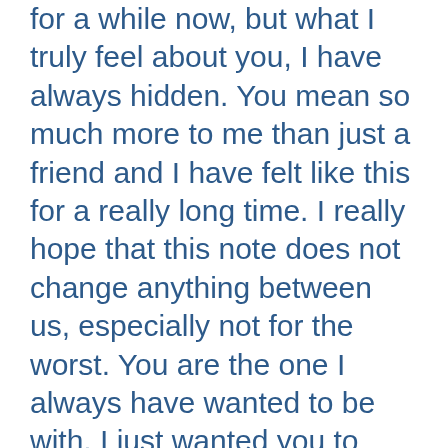for a while now, but what I truly feel about you, I have always hidden. You mean so much more to me than just a friend and I have felt like this for a really long time. I really hope that this note does not change anything between us, especially not for the worst. You are the one I always have wanted to be with, I just wanted you to know.
-I fell for you the moment you walked into my life with that flowing hair and angelic smile. Everything about you seemed so special to me. Everything that you did, or you still do, seemed so beautiful and elegant in itself. There is